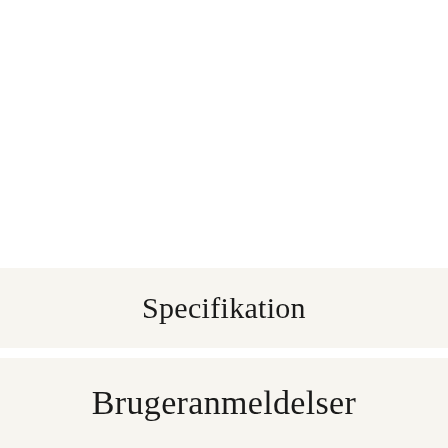Specifikation
Brugeranmeldelser